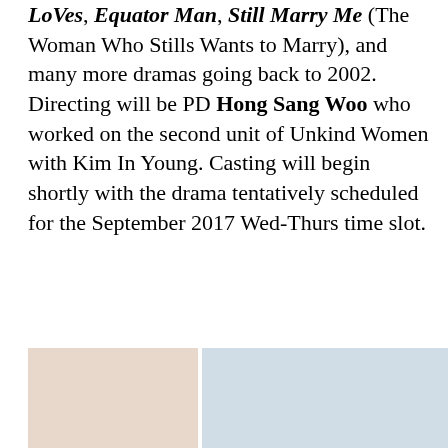LoVes, Equator Man, Still Marry Me (The Woman Who Stills Wants to Marry), and many more dramas going back to 2002. Directing will be PD Hong Sang Woo who worked on the second unit of Unkind Women with Kim In Young. Casting will begin shortly with the drama tentatively scheduled for the September 2017 Wed-Thurs time slot.
[Figure (photo): Two side-by-side photos partially visible at the bottom of the page. Left photo has warm beige/peach tones. Right photo has cool blue-grey tones.]